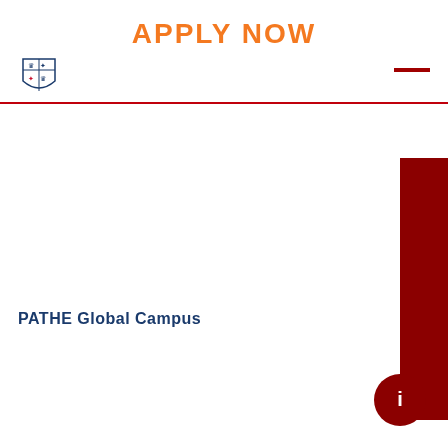APPLY NOW
[Figure (logo): University crest/shield logo in blue and white, small, top left]
[Figure (other): Dark red horizontal line/bar element top right corner]
[Figure (other): Dark red vertical rectangle bar on the right side of the page, partially cut off]
PATHE Global Campus
[Figure (other): Dark red circle button with a white 'i' information icon, bottom right]